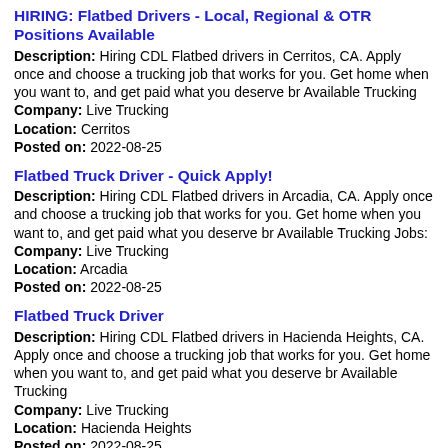HIRING: Flatbed Drivers - Local, Regional & OTR Positions Available
Description: Hiring CDL Flatbed drivers in Cerritos, CA. Apply once and choose a trucking job that works for you. Get home when you want to, and get paid what you deserve br Available Trucking
Company: Live Trucking
Location: Cerritos
Posted on: 2022-08-25
Flatbed Truck Driver - Quick Apply!
Description: Hiring CDL Flatbed drivers in Arcadia, CA. Apply once and choose a trucking job that works for you. Get home when you want to, and get paid what you deserve br Available Trucking Jobs:
Company: Live Trucking
Location: Arcadia
Posted on: 2022-08-25
Flatbed Truck Driver
Description: Hiring CDL Flatbed drivers in Hacienda Heights, CA. Apply once and choose a trucking job that works for you. Get home when you want to, and get paid what you deserve br Available Trucking
Company: Live Trucking
Location: Hacienda Heights
Posted on: 2022-08-25